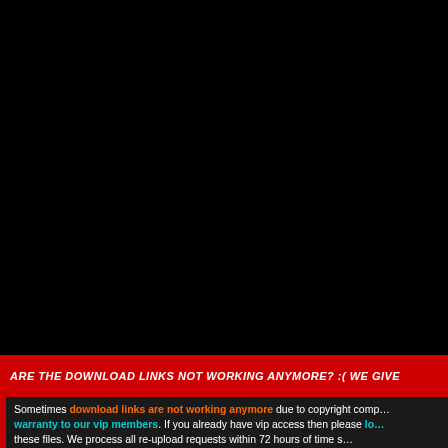[Figure (other): Large black area filling the top ~355px of the page, likely a video player or image area with no visible content.]
ARE THE DOWNLOAD LINKS NOT WORKING ANYMORE? :( WE GIVE...
Sometimes download links are not working anymore due to copyright comp... warranty to our vip members. If you already have vip access then please lo... these files. We process all re-upload requests within 72 hours of time s...